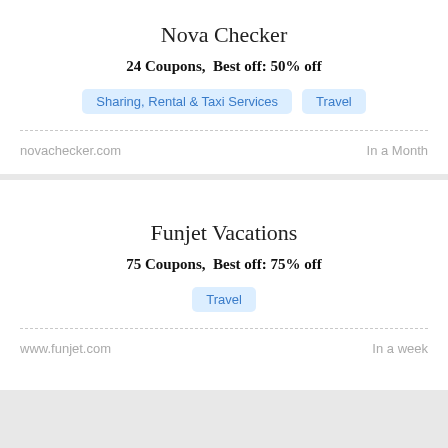Nova Checker
24 Coupons,  Best off: 50% off
Sharing, Rental & Taxi Services   Travel
novachecker.com
In a Month
Funjet Vacations
75 Coupons,  Best off: 75% off
Travel
www.funjet.com
In a week